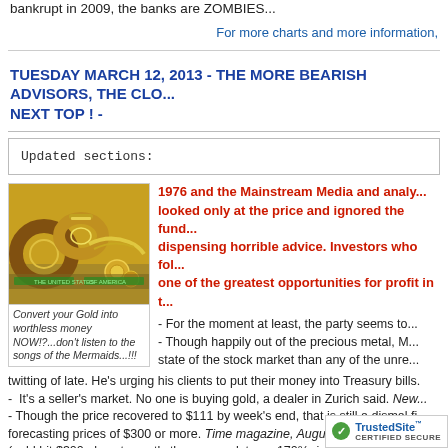bankrupt in 2009, the banks are ZOMBIES...
For more charts and more information,
TUESDAY MARCH 12, 2013 - THE MORE BEARISH ADVISORS, THE CLO... NEXT TOP ! -
Updated sections:
[Figure (photo): Image of gold rings and jewelry on dollar bills with caption: Convert your Gold into worthless money NOW!?...don't listen to the songs of the Mermaids...!!!]
1976 and the Mainstream Media and analy... looked only at the price and ignored the fund... dispensing horrible advice. Investors who fol... one of the greatest opportunities for profit in t...
- For the moment at least, the party seems to...
- Though happily out of the precious metal, M... state of the stock market than any of the unre... twitting of late. He's urging his clients to put their money into Treasury bills.
- It's a seller's market. No one is buying gold, a dealer in Zurich said. New...
- Though the price recovered to $111 by week's end, that is still a dismal fi... forecasting prices of $300 or more. Time magazine, Augus...
(gold hit $300 almost exactly three years later, a 170% rise...